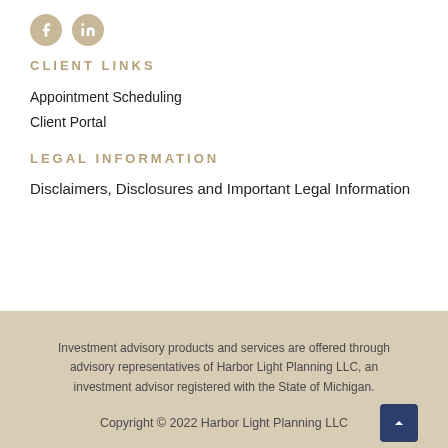[Figure (logo): Facebook and LinkedIn social media icons (circular, tan/gold background)]
CLIENT LINKS
Appointment Scheduling
Client Portal
LEGAL INFORMATION
Disclaimers, Disclosures and Important Legal Information
Investment advisory products and services are offered through advisory representatives of Harbor Light Planning LLC, an investment advisor registered with the State of Michigan.
Copyright © 2022 Harbor Light Planning LLC